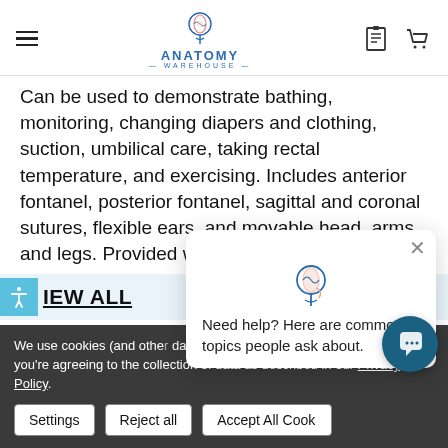Anatomy Warehouse
Can be used to demonstrate bathing, monitoring, changing diapers and clothing, suction, umbilical care, taking rectal temperature, and exercising. Includes anterior fontanel, posterior fontanel, sagittal and coronal sutures, flexible ears, and movable head, arms, and legs. Provided with
VIEW ALL
ADDITIONAL INFORM
We use cookies (and othe... data to improve your sho... website, you're agreeing to the collection of data as described in our Privacy Policy.
Need help? Here are common topics people ask about.